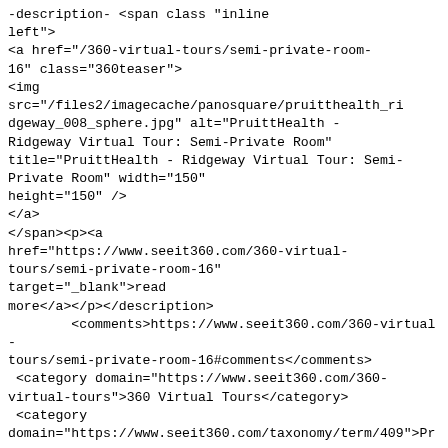-description- &lt;span class &quot;inline left&quot;&gt; &lt;a href=&quot;/360-virtual-tours/semi-private-room-16&quot; class=&quot;360teaser&quot;&gt; &lt;img src=&quot;/files2/imagecache/panosquare/pruitthealth_ridgeway_008_sphere.jpg&quot; alt=&quot;PruittHealth - Ridgeway Virtual Tour: Semi-Private Room&quot; title=&quot;PruittHealth - Ridgeway Virtual Tour: Semi-Private Room&quot; width=&quot;150&quot; height=&quot;150&quot; /&gt; &lt;/a&gt; &lt;/span&gt;&lt;p&gt;&lt;a href=&quot;https://www.seeit360.com/360-virtual-tours/semi-private-room-16&quot; target=&quot;_blank&quot;&gt;read more&lt;/a&gt;&lt;/p&gt;</description> <comments>https://www.seeit360.com/360-virtual-tours/semi-private-room-16#comments</comments> <category domain="https://www.seeit360.com/360-virtual-tours">360 Virtual Tours</category> <category domain="https://www.seeit360.com/taxonomy/term/409">PruittHealth - Ridgeway</category> <category domain="https://www.seeit360.com/ridgeway">Ridgeway</category> <category domain="https://www.seeit360.com/south-carolina">South Carolina</category> <pubDate>Tue, 12 Aug 2014 14:32:29 +0000</pubDate> <dc:creator>Sacha Griffin</dc:creator>